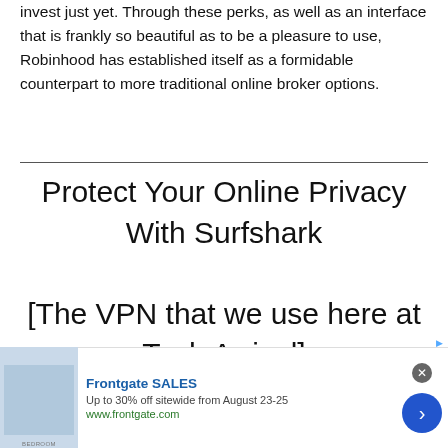invest just yet. Through these perks, as well as an interface that is frankly so beautiful as to be a pleasure to use, Robinhood has established itself as a formidable counterpart to more traditional online broker options.
Protect Your Online Privacy With Surfshark
[The VPN that we use here at Tech Arrival]
[Figure (other): Advertisement banner for Frontgate SALES — Up to 30% off sitewide from August 23-25, www.frontgate.com. Shows a bedroom image on the left, text in the center, and a blue arrow button on the right. Close button (x) visible top right of ad.]